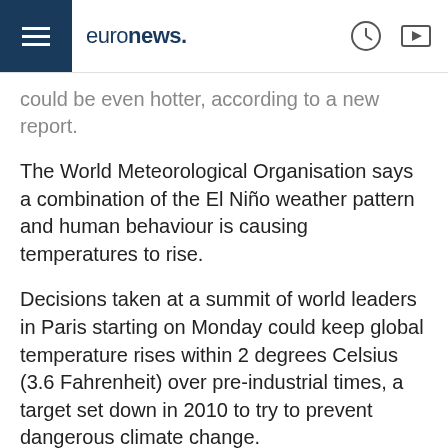euronews.
could be even hotter, according to a new report.
The World Meteorological Organisation says a combination of the El Niño weather pattern and human behaviour is causing temperatures to rise.
Decisions taken at a summit of world leaders in Paris starting on Monday could keep global temperature rises within 2 degrees Celsius (3.6 Fahrenheit) over pre-industrial times, a target set down in 2010 to try to prevent dangerous climate change.
“Yes, it’s still possible to keep to the 2 degree target but the more we wait for action the more difficult it will be,” WMO director-general Michel Jarraud told a news conference.
A preliminary estimate based on data from January to